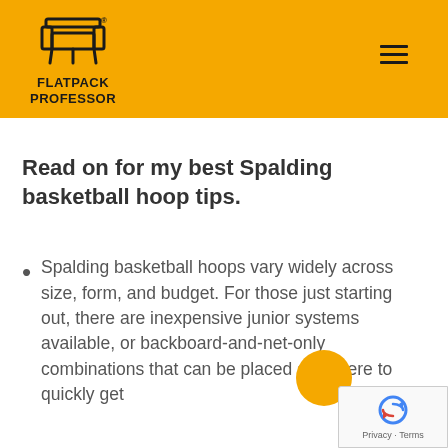FLATPACK PROFESSOR
Read on for my best Spalding basketball hoop tips.
Spalding basketball hoops vary widely across size, form, and budget. For those just starting out, there are inexpensive junior systems available, or backboard-and-net-only combinations that can be placed anywhere to quickly get